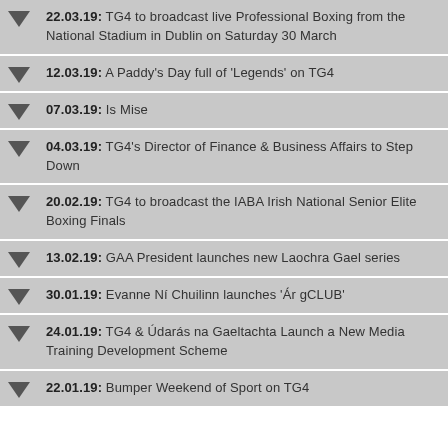22.03.19: TG4 to broadcast live Professional Boxing from the National Stadium in Dublin on Saturday 30 March
12.03.19: A Paddy's Day full of 'Legends' on TG4
07.03.19: Is Mise
04.03.19: TG4's Director of Finance & Business Affairs to Step Down
20.02.19: TG4 to broadcast the IABA Irish National Senior Elite Boxing Finals
13.02.19: GAA President launches new Laochra Gael series
30.01.19: Evanne Ní Chuilinn launches 'Ár gCLUB'
24.01.19: TG4 & Údarás na Gaeltachta Launch a New Media Training Development Scheme
22.01.19: Bumper Weekend of Sport on TG4